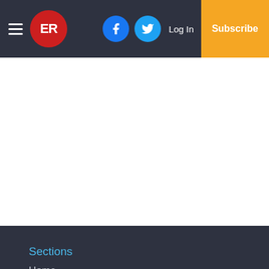ER logo with hamburger menu, Facebook icon, Twitter icon, Log In, Subscribe
Sections
Home
News
Sports
Opinion
Lifestyle
Obits
Small Business